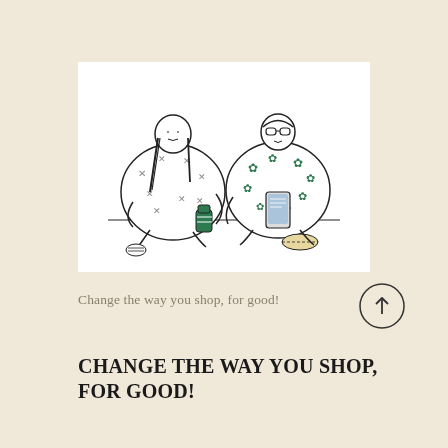[Figure (illustration): Two illustrated figures sitting cross-legged. Left figure is a woman with long hair wearing a patterned sweater with star/cross motifs, holding a green reusable cup/bottle. Right figure is a person with glasses wearing a patterned sweater with green leaf/palm motifs, holding a smartphone, with a rolled item beside them. Both drawn in a simple black line art style on white background.]
Change the way you shop, for good!
CHANGE THE WAY YOU SHOP, FOR GOOD!